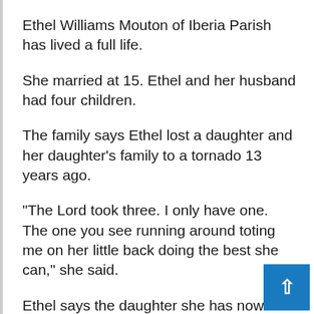Ethel Williams Mouton of Iberia Parish has lived a full life.
She married at 15. Ethel and her husband had four children.
The family says Ethel lost a daughter and her daughter’s family to a tornado 13 years ago.
“The Lord took three. I only have one. The one you see running around toting me on her little back doing the best she can,” she said.
Ethel says the daughter she has now is her saving grace.
“She got burnt and I was taking good care of h… She said when you get burnt I’m going to take care of…